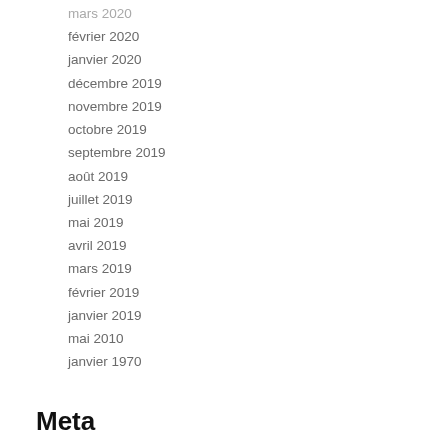mars 2020
février 2020
janvier 2020
décembre 2019
novembre 2019
octobre 2019
septembre 2019
août 2019
juillet 2019
mai 2019
avril 2019
mars 2019
février 2019
janvier 2019
mai 2010
janvier 1970
Meta
Connexion